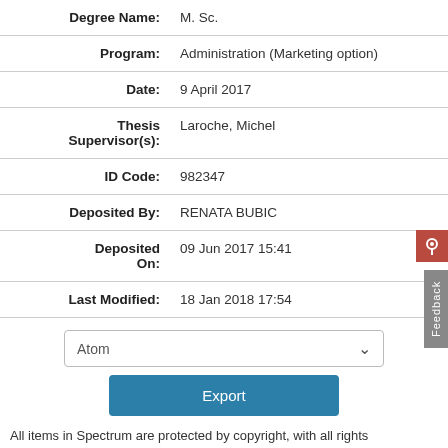| Field | Value |
| --- | --- |
| Degree Name: | M. Sc. |
| Program: | Administration (Marketing option) |
| Date: | 9 April 2017 |
| Thesis Supervisor(s): | Laroche, Michel |
| ID Code: | 982347 |
| Deposited By: | RENATA BUBIC |
| Deposited On: | 09 Jun 2017 15:41 |
| Last Modified: | 18 Jan 2018 17:54 |
Atom [dropdown] Export button
All items in Spectrum are protected by copyright, with all rights